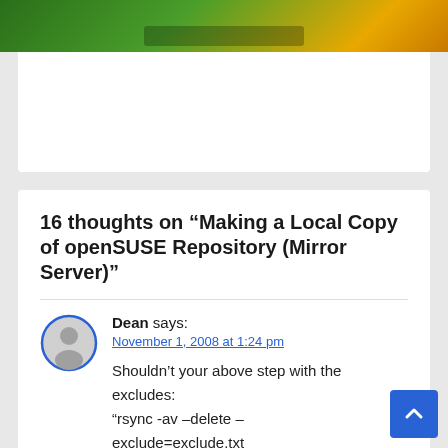[Figure (photo): Green and yellow background image strip at top of page, partially visible]
16 thoughts on “Making a Local Copy of openSUSE Repository (Mirror Server)”
Dean says:
November 1, 2008 at 1:24 pm
Shouldn’t your above step with the excludes:
“rsync -av –delete –exclude=exclude.txt